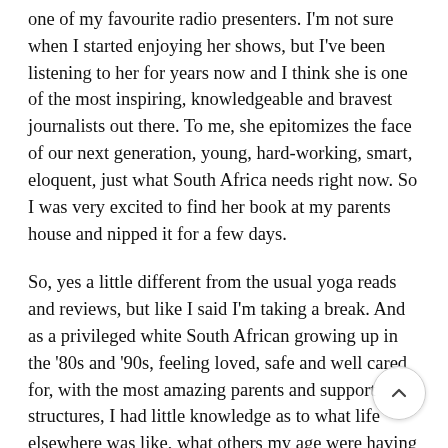one of my favourite radio presenters. I'm not sure when I started enjoying her shows, but I've been listening to her for years now and I think she is one of the most inspiring, knowledgeable and bravest journalists out there. To me, she epitomizes the face of our next generation, young, hard-working, smart, eloquent, just what South Africa needs right now. So I was very excited to find her book at my parents house and nipped it for a few days.
So, yes a little different from the usual yoga reads and reviews, but like I said I'm taking a break. And as a privileged white South African growing up in the '80s and '90s, feeling loved, safe and well cared for, with the most amazing parents and support structures, I had little knowledge as to what life elsewhere was like, what others my age were having to deal with on